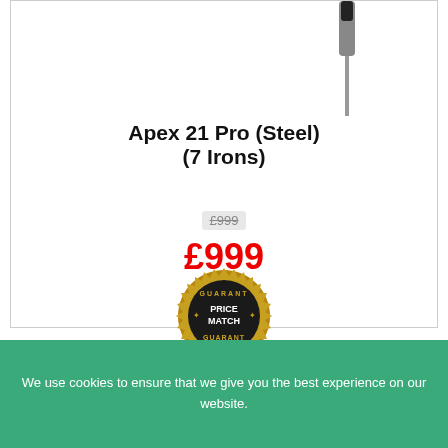[Figure (photo): Golf club iron image showing top portion of club head and shaft against white background]
Apex 21 Pro (Steel) (7 Irons)
£999
[Figure (logo): Gold circular badge with text PRICE MATCH GUARANTEE]
We use cookies to ensure that we give you the best experience on our website.